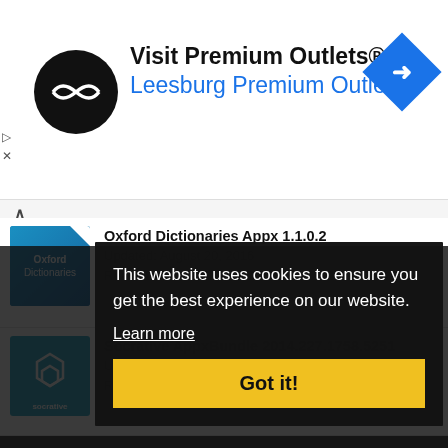[Figure (screenshot): Advertisement banner for Visit Premium Outlets® / Leesburg Premium Outlets with black circular logo and blue navigation diamond icon]
Oxford Dictionaries Appx 1.1.0.2
Updated: August 20, 2016
Read More
Socrative AppxBundle 2014.227.1758.5251
Updated: August 26, 2016
Read More
Recommended
Read More
MyFlashCards AppxBundle 19.213.1059.0
Updated: February 12, 2019
Read More
This website uses cookies to ensure you get the best experience on our website.
Learn more
Got it!